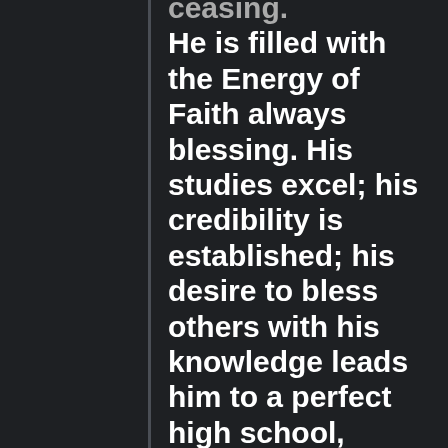ceasing. He is filled with the Energy of Faith always blessing. His studies excel; his credibility is established; his desire to bless others with his knowledge leads him to a perfect high school,